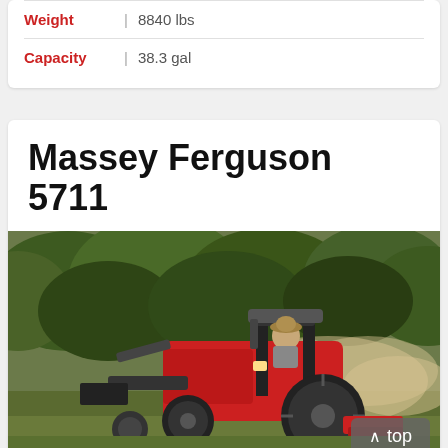Weight | 8840 lbs
Capacity | 38.3 gal
Massey Ferguson 5711
[Figure (photo): A red Massey Ferguson 5711 tractor with front loader and rear implement being driven across a dusty field by a person wearing a hat, with green trees in the background. A 'top' navigation button overlay appears in the bottom-right corner.]